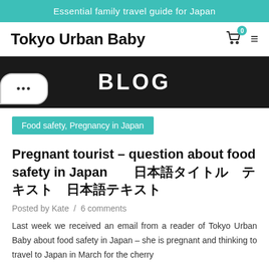Essential family travel guide for Japan
Tokyo Urban Baby
[Figure (logo): Shopping cart icon with badge showing 0, and hamburger menu icon]
BLOG
Food safety, Pregnancy in Japan
Pregnant tourist – question about food safety in Japan 日本語タイトル テキスト 日本語テキスト
Posted by Kate  /  6 comments
Last week we received an email from a reader of Tokyo Urban Baby about food safety in Japan – she is pregnant and thinking to travel to Japan in March for the cherry